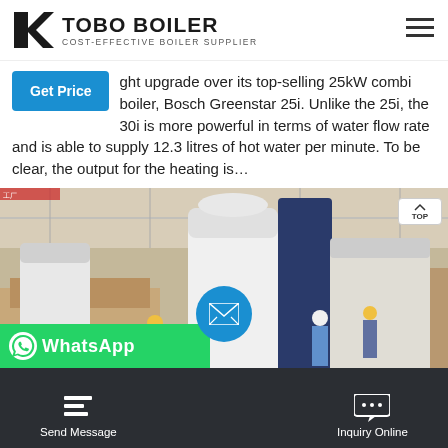TOBO BOILER — COST-EFFECTIVE BOILER SUPPLIER
ght upgrade over its top-selling 25kW combi boiler, Bosch Greenstar 25i. Unlike the 25i, the 30i is more powerful in terms of water flow rate and is able to supply 12.3 litres of hot water per minute. To be clear, the output for the heating is…
[Figure (photo): Industrial warehouse with large boilers wrapped in protective covering, workers in hard hats visible in background]
Send Message | Inquiry Online